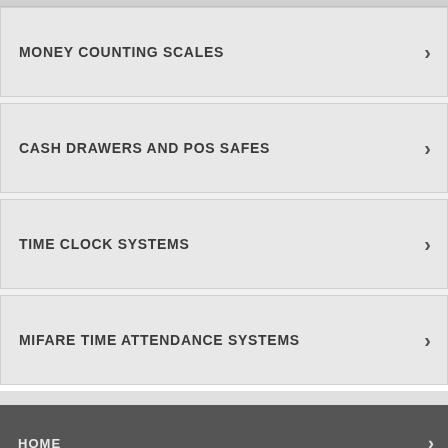MONEY COUNTING SCALES
CASH DRAWERS AND POS SAFES
TIME CLOCK SYSTEMS
MIFARE TIME ATTENDANCE SYSTEMS
HOME
CUSTOMER SERVICE
COMPANY
DEALERS
MY ACCOUNT DETAILS
LANGUAGE SETTINGS